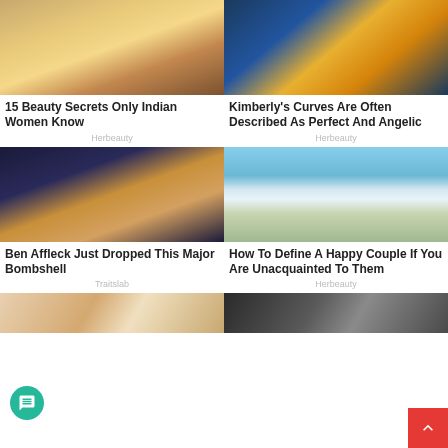[Figure (photo): Indian woman in yellow sari with dark veil]
15 Beauty Secrets Only Indian Women Know
Herbeauty
[Figure (photo): Woman in blue and gold outfit]
Kimberly's Curves Are Often Described As Perfect And Angelic
Herbeauty
[Figure (photo): Jennifer Lopez close-up portrait]
Ben Affleck Just Dropped This Major Bombshell
Traitslab
[Figure (photo): Couple kissing on beach with waves]
How To Define A Happy Couple If You Are Unacquainted To Them
Herbeauty
[Figure (photo): Partial bottom left image of blonde women]
[Figure (photo): Partial bottom right image of people with caps]